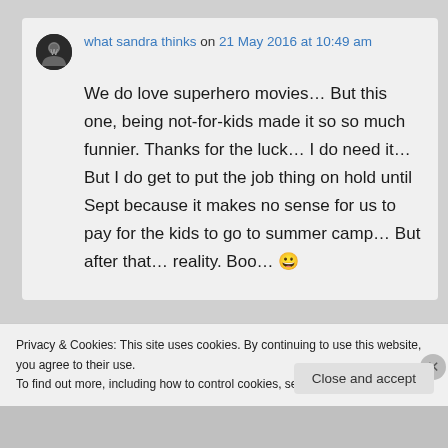what sandra thinks on 21 May 2016 at 10:49 am
We do love superhero movies… But this one, being not-for-kids made it so so much funnier. Thanks for the luck… I do need it… But I do get to put the job thing on hold until Sept because it makes no sense for us to pay for the kids to go to summer camp… But after that… reality. Boo… 😀
Privacy & Cookies: This site uses cookies. By continuing to use this website, you agree to their use.
To find out more, including how to control cookies, see here: Cookie Policy
Close and accept